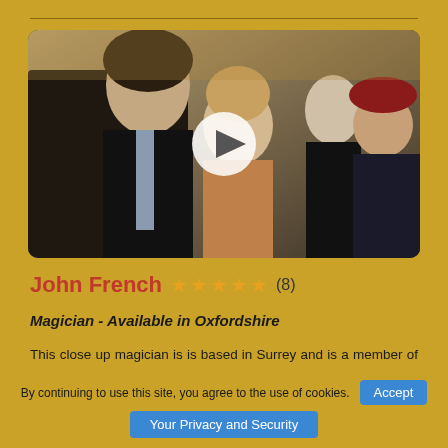[Figure (photo): Photo of people at an event with a play button overlay — appears to show a magician interacting with guests at a formal party]
John French ★★★★★ (8)
Magician - Available in Oxfordshire
This close up magician is is based in Surrey and is a member of the Magic Circle and entertains mostly in the UK at parties, weddings and corporate events.
Price from £350
By continuing to use this site, you agree to the use of cookies.
Accept
Your Privacy and Security